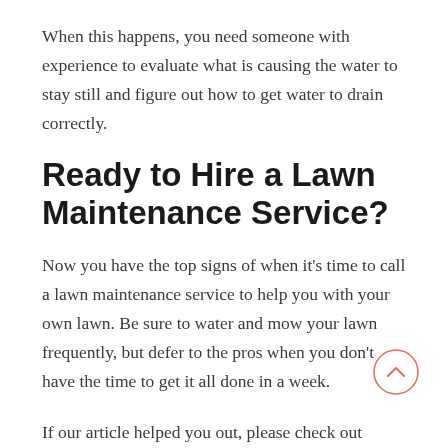When this happens, you need someone with experience to evaluate what is causing the water to stay still and figure out how to get water to drain correctly.
Ready to Hire a Lawn Maintenance Service?
Now you have the top signs of when it’s time to call a lawn maintenance service to help you with your own lawn. Be sure to water and mow your lawn frequently, but defer to the pros when you don’t have the time to get it all done in a week.
If our article helped you out, please check out the rest of this section for more information.